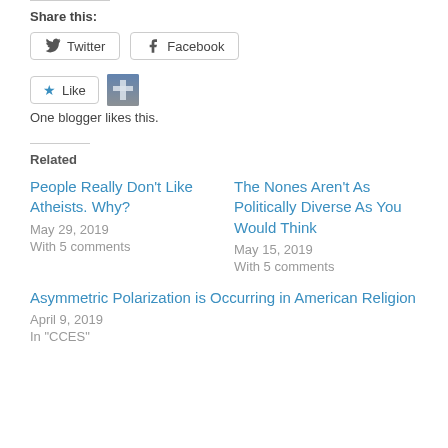Share this:
Twitter  Facebook
Like  One blogger likes this.
Related
People Really Don't Like Atheists. Why?
May 29, 2019
With 5 comments
The Nones Aren't As Politically Diverse As You Would Think
May 15, 2019
With 5 comments
Asymmetric Polarization is Occurring in American Religion
April 9, 2019
In "CCES"